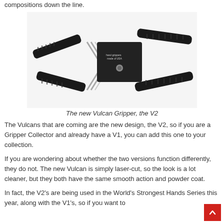compositions down the line.
[Figure (photo): Photo of the new Vulcan Gripper V2, a black hand gripper exercise tool with two handles and a coil spring, on a white background.]
The new Vulcan Gripper, the V2
The Vulcans that are coming are the new design, the V2, so if you are a Gripper Collector and already have a V1, you can add this one to your collection.
If you are wondering about whether the two versions function differently, they do not. The new Vulcan is simply laser-cut, so the look is a lot cleaner, but they both have the same smooth action and powder coat.
In fact, the V2's are being used in the World's Strongest Hands Series this year, along with the V1's, so if you want to